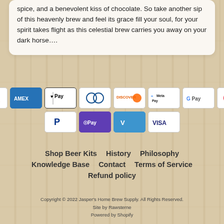spice, and a benevolent kiss of chocolate. So take another sip of this heavenly brew and feel its grace fill your soul, for your spirit takes flight as this celestial brew carries you away on your dark horse….
[Figure (other): Payment method icons: Amazon, Amex, Apple Pay, Diners Club, Discover, Meta Pay, Google Pay, Mastercard (row 1); PayPal, OPay, Venmo, Visa (row 2)]
Shop Beer Kits
History
Philosophy
Knowledge Base
Contact
Terms of Service
Refund policy
Copyright © 2022 Jasper's Home Brew Supply. All Rights Reserved.
Site by Rawsterne
Powered by Shopify